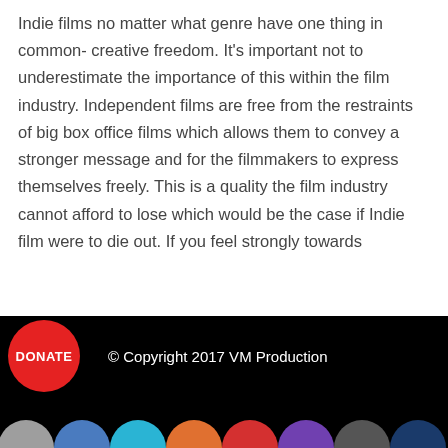Indie films no matter what genre have one thing in common- creative freedom. It's important not to underestimate the importance of this within the film industry. Independent films are free from the restraints of big box office films which allows them to convey a stronger message and for the filmmakers to express themselves freely. This is a quality the film industry cannot afford to lose which would be the case if Indie film were to die out. If you feel strongly towards
[Figure (other): Red circular DONATE button on black footer bar]
© Copyright 2017 VM Production
[Figure (other): Row of social media icon circles (partially visible) at bottom of page]